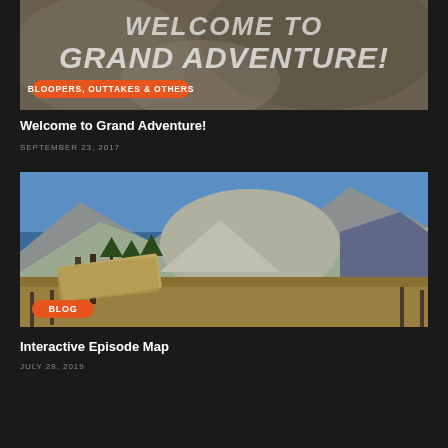[Figure (photo): Adventure video thumbnail with rocky background texture, text WELCOME TO GRAND ADVENTURE! overlaid, with orange badge reading BLOOPERS, OUTTAKES & OTHERS]
Welcome to Grand Adventure!
SEPTEMBER 23, 2017
[Figure (photo): Outdoor mountain landscape photo with wooden trail sign in foreground, mountains and blue sky in background, orange BLOG badge]
Interactive Episode Map
JULY 28, 2019